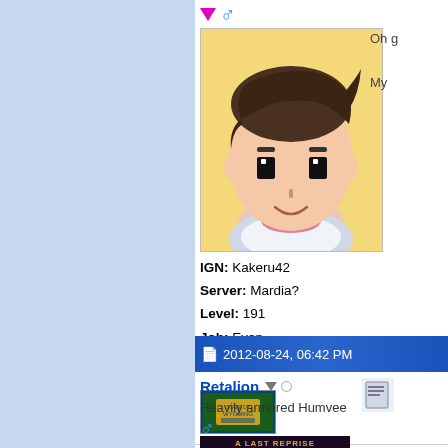[Figure (illustration): Cartoon anime-style avatar of a young male character with dark hair, on a yellow background]
IGN: Kakeru42
Server: Mardia?
Level: 191
Job: Evan
Guild: None
[Figure (illustration): State of Wyoming flag icon/badge]
2012-08-24, 06:42 PM
Retalion
Heavily armored Humvee
[Figure (illustration): A Last Reprise 12x Bowmaster game banner image]